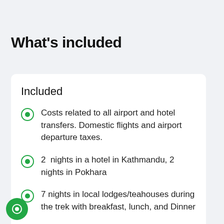What's included
Included
Costs related to all airport and hotel transfers. Domestic flights and airport departure taxes.
2  nights in a hotel in Kathmandu, 2 nights in Pokhara
7 nights in local lodges/teahouses during the trek with breakfast, lunch, and Dinner
Welcome and farewell dinners